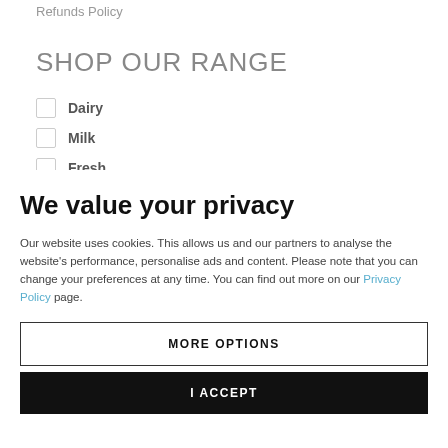Refunds Policy
SHOP OUR RANGE
Dairy
Milk
Fresh
We value your privacy
Our website uses cookies. This allows us and our partners to analyse the website's performance, personalise ads and content. Please note that you can change your preferences at any time. You can find out more on our Privacy Policy page.
MORE OPTIONS
I ACCEPT